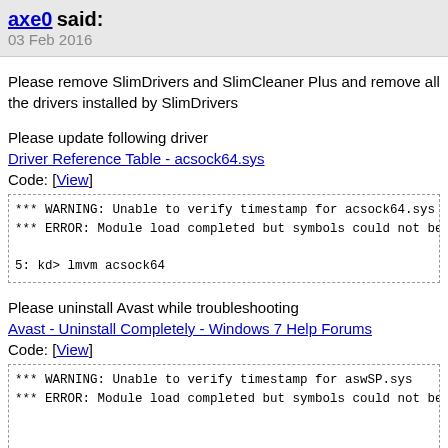axe0 said:
03 Feb 2016
Please remove SlimDrivers and SlimCleaner Plus and remove all the drivers installed by SlimDrivers
Please update following driver
Driver Reference Table - acsock64.sys
Code: [View]
*** WARNING: Unable to verify timestamp for acsock64.sys
*** ERROR: Module load completed but symbols could not be

5: kd> lmvm acsock64
Please uninstall Avast while troubleshooting
Avast - Uninstall Completely - Windows 7 Help Forums
Code: [View]
*** WARNING: Unable to verify timestamp for aswSP.sys
*** ERROR: Module load completed but symbols could not be
Please fill in your system specs
    Please follow this tutorial and download the tool. The tool will